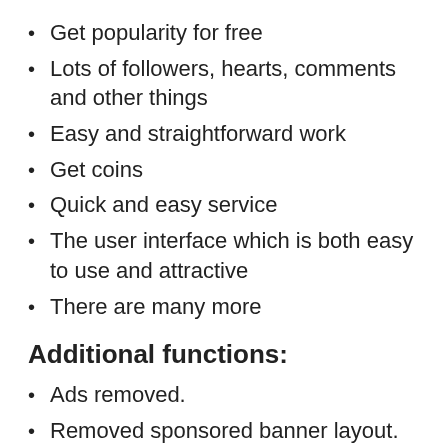Get popularity for free
Lots of followers, hearts, comments and other things
Easy and straightforward work
Get coins
Quick and easy service
The user interface which is both easy to use and attractive
There are many more
Additional functions:
Ads removed.
Removed sponsored banner layout.
Unsolicited permission + deactivated/deleted recipients and services.
All ads and services have been removed from a